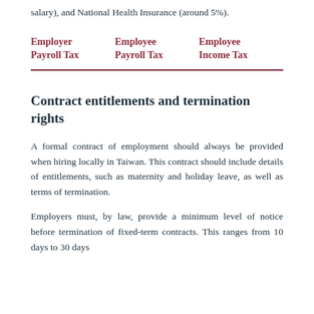salary), and National Health Insurance (around 5%).
| Employer Payroll Tax | Employee Payroll Tax | Employee Income Tax |
| --- | --- | --- |
Contract entitlements and termination rights
A formal contract of employment should always be provided when hiring locally in Taiwan. This contract should include details of entitlements, such as maternity and holiday leave, as well as terms of termination.
Employers must, by law, provide a minimum level of notice before termination of fixed-term contracts. This ranges from 10 days to 30 days...